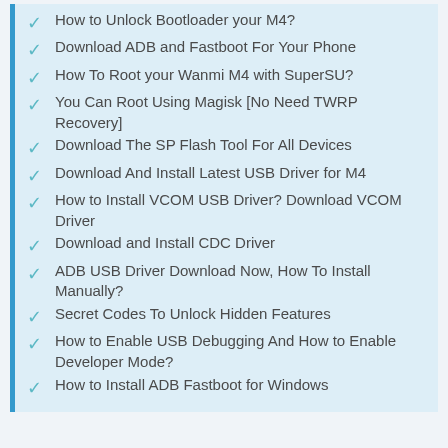How to Unlock Bootloader your M4?
Download ADB and Fastboot For Your Phone
How To Root your Wanmi M4 with SuperSU?
You Can Root Using Magisk [No Need TWRP Recovery]
Download The SP Flash Tool For All Devices
Download And Install Latest USB Driver for M4
How to Install VCOM USB Driver? Download VCOM Driver
Download and Install CDC Driver
ADB USB Driver Download Now, How To Install Manually?
Secret Codes To Unlock Hidden Features
How to Enable USB Debugging And How to Enable Developer Mode?
How to Install ADB Fastboot for Windows